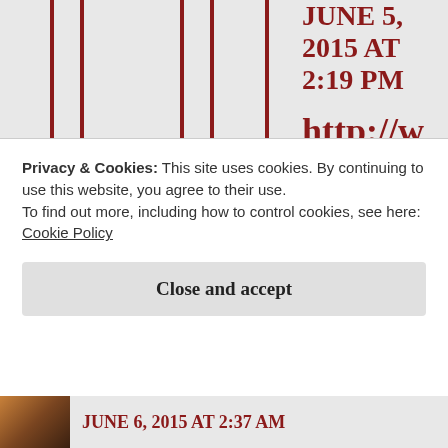JUNE 5, 2015 AT 2:19 PM
http://wp.me/p4O7WR-6O
★ Like
Privacy & Cookies: This site uses cookies. By continuing to use this website, you agree to their use.
To find out more, including how to control cookies, see here:
Cookie Policy
Close and accept
JUNE 6, 2015 AT 2:37 AM